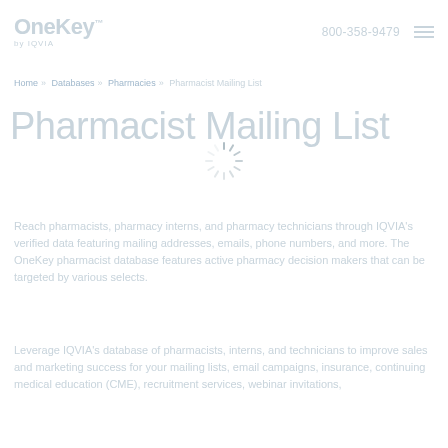OneKey by IQVIA | 800-358-9479
Home » Databases » Pharmacies » Pharmacist Mailing List
Pharmacist Mailing List
Reach pharmacists, pharmacy interns, and pharmacy technicians through IQVIA's verified data featuring mailing addresses, emails, phone numbers, and more. The OneKey pharmacist database features active pharmacy decision makers that can be targeted by various selects.
Leverage IQVIA's database of pharmacists, interns, and technicians to improve sales and marketing success for your mailing lists, email campaigns, insurance, continuing medical education (CME), recruitment services, webinar invitations,